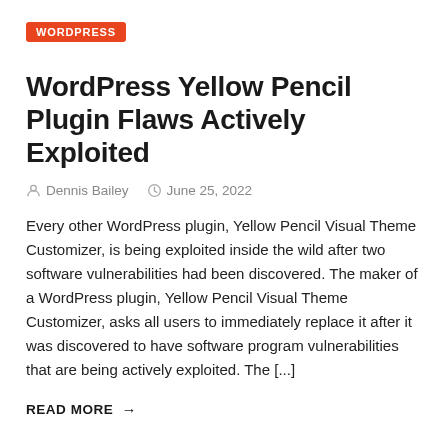WORDPRESS
WordPress Yellow Pencil Plugin Flaws Actively Exploited
Dennis Bailey   June 25, 2022
Every other WordPress plugin, Yellow Pencil Visual Theme Customizer, is being exploited inside the wild after two software vulnerabilities had been discovered. The maker of a WordPress plugin, Yellow Pencil Visual Theme Customizer, asks all users to immediately replace it after it was discovered to have software program vulnerabilities that are being actively exploited. The [...]
READ MORE →